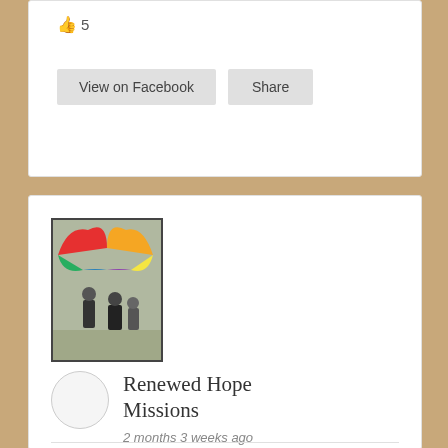👍 5
View on Facebook
Share
[Figure (photo): Thumbnail photo showing people under a colorful parachute/balloon in what appears to be an indoor gym or event space]
Renewed Hope Missions
2 months 3 weeks ago
A song from one of our graduates